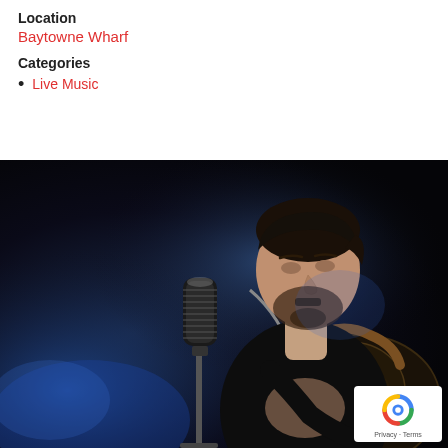Location
Baytowne Wharf
Categories
Live Music
[Figure (photo): A male musician performing on stage in dark lighting with blue stage lights. He is playing guitar and standing in front of a vintage-style microphone on a stand. He has short dark hair and a beard, wearing a black t-shirt.]